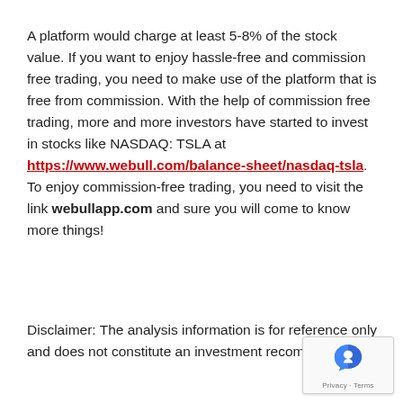A platform would charge at least 5-8% of the stock value. If you want to enjoy hassle-free and commission free trading, you need to make use of the platform that is free from commission. With the help of commission free trading, more and more investors have started to invest in stocks like NASDAQ: TSLA at https://www.webull.com/balance-sheet/nasdaq-tsla. To enjoy commission-free trading, you need to visit the link webullapp.com and sure you will come to know more things!
Disclaimer: The analysis information is for reference only and does not constitute an investment recommendation.